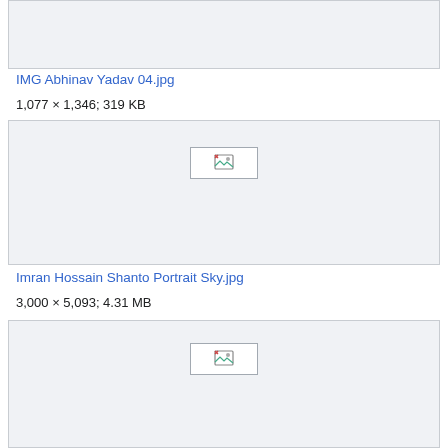[Figure (photo): Truncated image placeholder box at top of page (IMG Abhinav Yadav 04.jpg, partially visible)]
IMG Abhinav Yadav 04.jpg
1,077 × 1,346; 319 KB
[Figure (photo): Image placeholder box with broken image icon for Imran Hossain Shanto Portrait Sky.jpg]
Imran Hossain Shanto Portrait Sky.jpg
3,000 × 5,093; 4.31 MB
[Figure (photo): Partially visible image placeholder box at bottom of page]